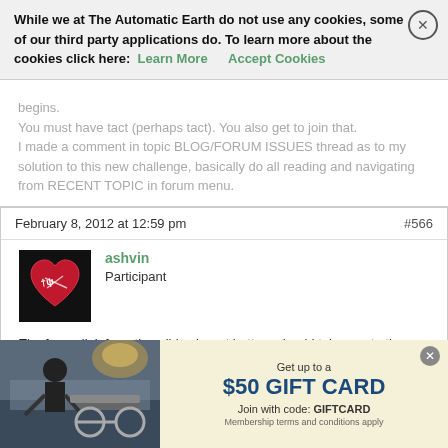While we at The Automatic Earth do not use any cookies, some of our third party applications do. To learn more about the cookies click here: Learn More  Accept Cookies
I made a comment in topic BLOG/FORUM ISSUES thread as to my solution to this new challenge, basically do all reading and navigating from RECENT TOPIC in forum menu.
February 8, 2012 at 12:59 pm  #566
ashvin
Participant
The forum link from the wibiya bar at bottom should take you to the forum's main page.

You can also post comments to the forum directly under a feature/commentary, or get to the forum thread by clicking "posts in discussion".
[Figure (infographic): Advertisement banner: photo of person with ski equipment on left, text on yellow background reading 'Get up to a $50 GIFT CARD Join with code: GIFTCARD Membership terms and conditions apply']